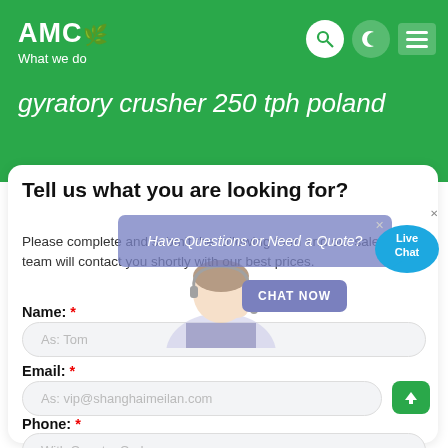AMC What we do
gyratory crusher 250 tph poland
Tell us what you are looking for?
Please complete and submit the following form and our sales team will contact you shortly with our best prices.
Have Questions or Need a Quote?
CHAT NOW
Live Chat
Name: *
As: Tom
Email: *
As: vip@shanghaimeilan.com
Phone: *
With Country Code